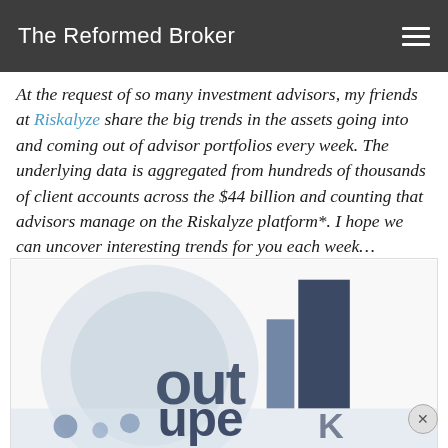The Reformed Broker
At the request of so many investment advisors, my friends at Riskalyze share the big trends in the assets going into and coming out of advisor portfolios every week. The underlying data is aggregated from hundreds of thousands of client accounts across the $44 billion and counting that advisors manage on the Riskalyze platform*. I hope we can uncover interesting trends for you each week…
[Figure (illustration): Blurred/partial image showing large bold text and graphic elements related to a Riskalyze financial chart or infographic, partially visible with blue and dark navy tones.]